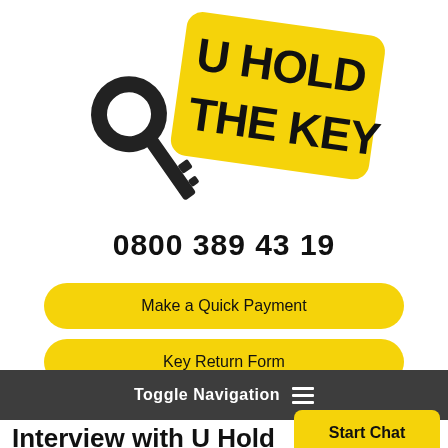[Figure (logo): U Hold The Key logo with a key icon and yellow tag reading 'U HOLD THE KEY' in bold black text]
0800 389 43 19
Make a Quick Payment
Key Return Form
Toggle Navigation
Interview with U Hold Key's Site Manager Paul
Start Chat